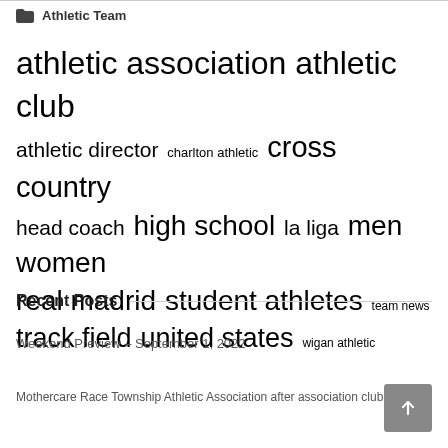Athletic Team
[Figure (infographic): Tag cloud showing athletic-related terms in varying font sizes indicating frequency: athletic association, athletic club (largest), athletic director, charlton athletic (small), cross country (large), head coach (medium), high school (large), la liga (medium), men women (large), real madrid (large), student athletes (large), team news (small), track field (large), united states (large), wigan athletic (small)]
Recent Posts
Weekend Preview – September 1, 2022
Mothercare Race Township Athletic Association after association club the